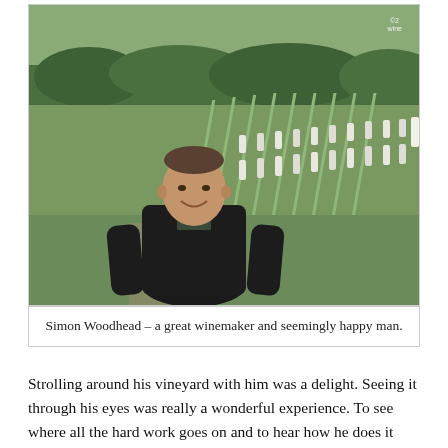[Figure (photo): A smiling man (Simon Woodhead) standing in front of a vineyard with rows of young vines with white protective tubes, green grass, and trees in the background.]
Simon Woodhead – a great winemaker and seemingly happy man.
Strolling around his vineyard with him was a delight. Seeing it through his eyes was really a wonderful experience. To see where all the hard work goes on and to hear how he does it was a privilege. Because I know that his wines are amongst the very best produced in this country. I haven't tasted them all so will not put it any higher than that, but I have not tasted a still white